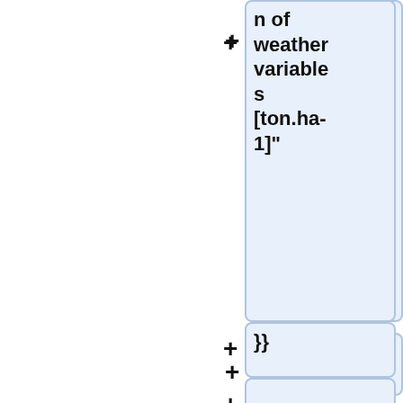n of weather variables [ton.ha-1]"
}}
+
[[References|Palm and Dagnelie (1993)]] fitted various time trend